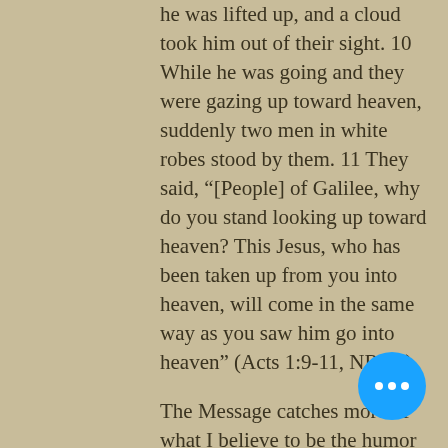he was lifted up, and a cloud took him out of their sight. 10 While he was going and they were gazing up toward heaven, suddenly two men in white robes stood by them. 11 They said, “[People] of Galilee, why do you stand looking up toward heaven? This Jesus, who has been taken up from you into heaven, will come in the same way as you saw him go into heaven” (Acts 1:9-11, NRSV).
The Message catches more of what I believe to be the humor in this passage saying, 9-11 As they watched, [Jesus] was taken up and disappeared in a cloud. They stood there, staring into the empty sky. Suddenly two men appeared—in